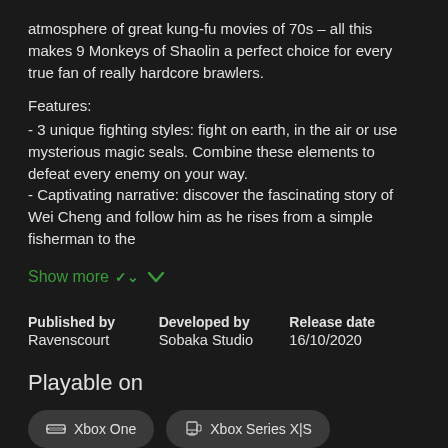atmosphere of great kung-fu movies of 70s – all this makes 9 Monkeys of Shaolin a perfect choice for every true fan of really hardcore brawlers.
Features:
- 3 unique fighting styles: fight on earth, in the air or use mysterious magic seals. Combine these elements to defeat every enemy on your way.
- Captivating narrative: discover the fascinating story of Wei Cheng and follow him as he rises from a simple fisherman to the
Show more
| Published by | Developed by | Release date |
| --- | --- | --- |
| Ravenscourt | Sobaka Studio | 16/10/2020 |
Playable on
Xbox One  Xbox Series X|S